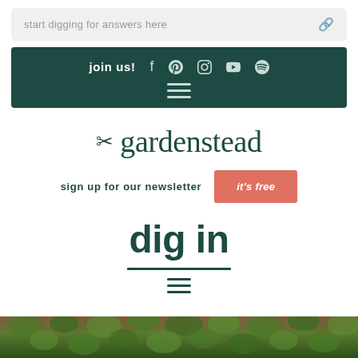start digging for answers here
join us! f pinterest instagram youtube spotify
[Figure (screenshot): Hamburger menu icon (white lines on dark green background)]
✂ gardenstead
sign up for our newsletter   it's free
dig in
[Figure (photo): Garden image showing green plants and flowers against a wall]